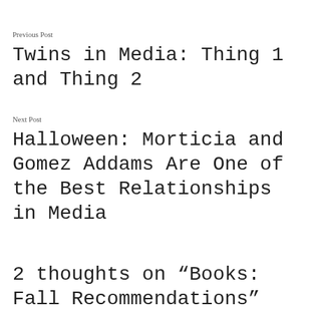Previous Post
Twins in Media: Thing 1 and Thing 2
Next Post
Halloween: Morticia and Gomez Addams Are One of the Best Relationships in Media
2 thoughts on “Books: Fall Recommendations”